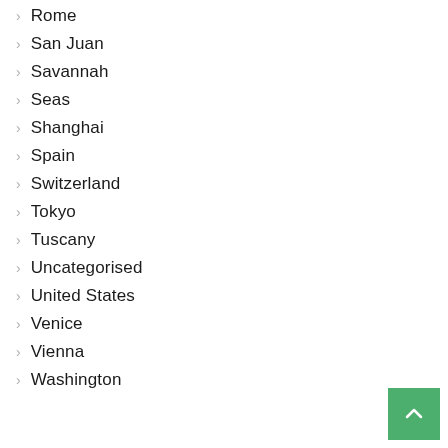Rome
San Juan
Savannah
Seas
Shanghai
Spain
Switzerland
Tokyo
Tuscany
Uncategorised
United States
Venice
Vienna
Washington